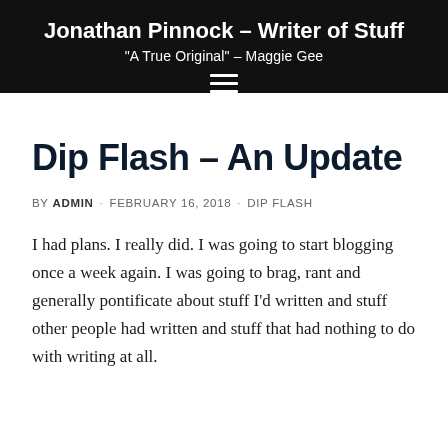Jonathan Pinnock – Writer of Stuff
"A True Original" – Maggie Gee
Dip Flash – An Update
BY ADMIN · FEBRUARY 16, 2018 · DIP FLASH
I had plans. I really did. I was going to start blogging once a week again. I was going to brag, rant and generally pontificate about stuff I'd written and stuff other people had written and stuff that had nothing to do with writing at all.